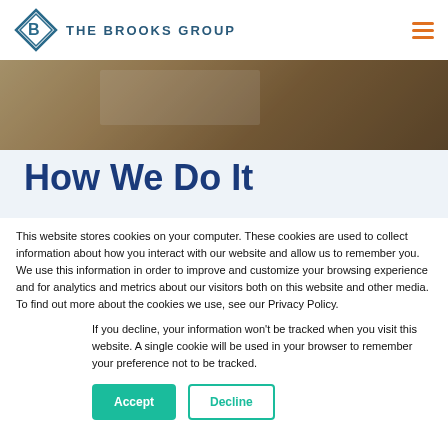THE BROOKS GROUP
[Figure (photo): Blurred hero image with warm brown/tan tones showing a desk or table surface]
How We Do It
This website stores cookies on your computer. These cookies are used to collect information about how you interact with our website and allow us to remember you. We use this information in order to improve and customize your browsing experience and for analytics and metrics about our visitors both on this website and other media. To find out more about the cookies we use, see our Privacy Policy.
If you decline, your information won't be tracked when you visit this website. A single cookie will be used in your browser to remember your preference not to be tracked.
Accept  Decline